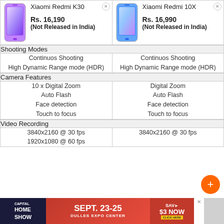| Xiaomi Redmi K30 | Xiaomi Redmi 10X |
| --- | --- |
| Rs. 16,190
(Not Released in India) | Rs. 16,990
(Not Released in India) |
| Shooting Modes |  |
| Continuos Shooting
High Dynamic Range mode (HDR) | Continuos Shooting
High Dynamic Range mode (HDR) |
| Camera Features |  |
| 10 x Digital Zoom
Auto Flash
Face detection
Touch to focus | Digital Zoom
Auto Flash
Face detection
Touch to focus |
| Video Recording |  |
| 3840x2160 @ 30 fps
1920x1080 @ 60 fps | 3840x2160 @ 30 fps |
[Figure (screenshot): Ad banner: Capital Home Show Sept. 23-25 Dulles Expo Center, Save $3 Now Click Here]